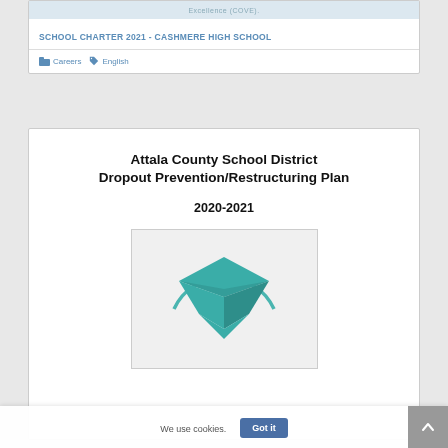[Figure (logo): Partially visible school logo/crest with text 'Excellence (COVE)' at top of first card]
SCHOOL CHARTER 2021 - CASHMERE HIGH SCHOOL
Careers   English
[Figure (illustration): Cover page of Attala County School District Dropout Prevention/Restructuring Plan 2020-2021 with graduation cap logo]
We use cookies.
Got it